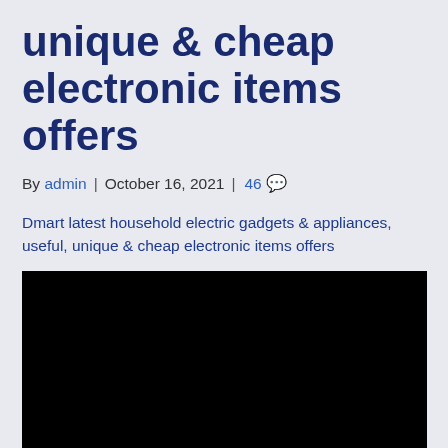unique & cheap electronic items offers
By admin | October 16, 2021 | 46 💬
Dmart latest household electric gadgets & appliances, useful, unique & cheap electronic items offers
[Figure (photo): Black/dark image area (video or image placeholder)]